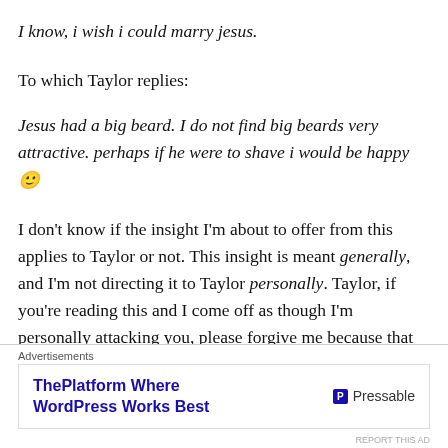I know, i wish i could marry jesus.
To which Taylor replies:
Jesus had a big beard. I do not find big beards very attractive. perhaps if he were to shave i would be happy 🙂
I don't know if the insight I'm about to offer from this applies to Taylor or not. This insight is meant generally, and I'm not directing it to Taylor personally. Taylor, if you're reading this and I come off as though I'm personally attacking you, please forgive me because that isn't my intent! But if you see yourself in this as a Christian and can
Advertisements
[Figure (other): Advertisement banner for Pressable: ThePlatform Where WordPress Works Best]